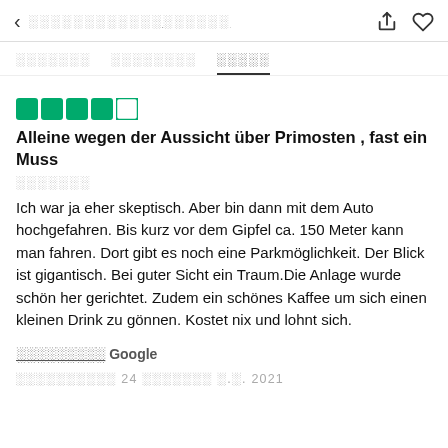< ░░░░░░░░░░░░░░░░░░░ [share] [heart]
░░░░░░░  ░░░░░░░░  ░░░░░ [tabs]
[Figure (other): 5 TripAdvisor green circle rating dots (4 full, 1 outline)]
Alleine wegen der Aussicht über Primosten , fast ein Muss
░░░░░░░
Ich war ja eher skeptisch. Aber bin dann mit dem Auto hochgefahren. Bis kurz vor dem Gipfel ca. 150 Meter kann man fahren. Dort gibt es noch eine Parkmöglichkeit. Der Blick ist gigantisch. Bei guter Sicht ein Traum.Die Anlage wurde schön her gerichtet. Zudem ein schönes Kaffee um sich einen kleinen Drink zu gönnen. Kostet nix und lohnt sich.
░░░░░░░░░ Google
░░░░░░░░░░ 24 ░░░░░░░ ░.░. 2021